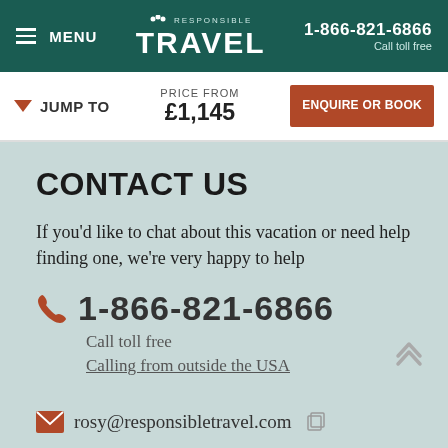MENU | RESPONSIBLE TRAVEL | 1-866-821-6866 Call toll free
JUMP TO | PRICE FROM £1,145 | ENQUIRE OR BOOK
CONTACT US
If you'd like to chat about this vacation or need help finding one, we're very happy to help
1-866-821-6866
Call toll free
Calling from outside the USA
rosy@responsibletravel.com
RECENTLY VIEWED